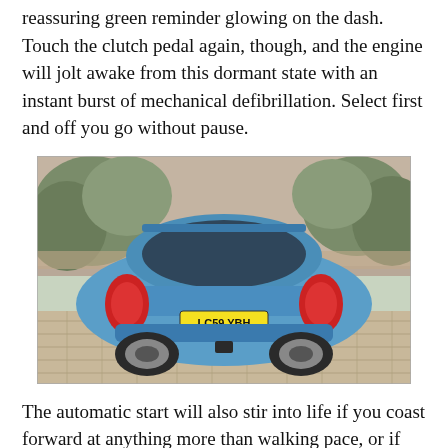reassuring green reminder glowing on the dash. Touch the clutch pedal again, though, and the engine will jolt awake from this dormant state with an instant burst of mechanical defibrillation. Select first and off you go without pause.
[Figure (photo): Rear view of a blue Kia hatchback (registration LC59 YBH) parked on a brick-paved driveway with trees and a brick wall in the background.]
The automatic start will also stir into life if you coast forward at anything more than walking pace, or if you dip the clutch after you've just stalled the engine. Neither of which I ever do, heavens no.